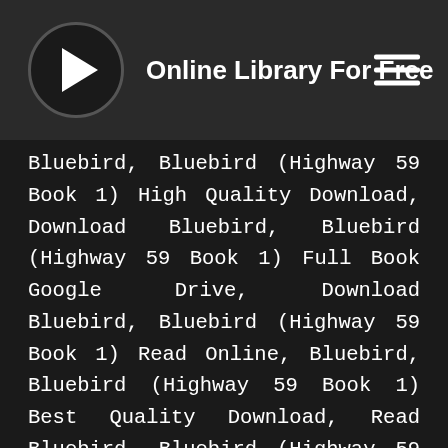Online Library For Free
Bluebird, Bluebird (Highway 59 Book 1) High Quality Download, Download Bluebird, Bluebird (Highway 59 Book 1) Full Book Google Drive, Download Bluebird, Bluebird (Highway 59 Book 1) Read Online, Bluebird, Bluebird (Highway 59 Book 1) Best Quality Download, Read Bluebird, Bluebird (Highway 59 Book 1) Without Signing Up, Read Bluebird, Bluebird (Highway 59 Book 1) Google, Download Bluebird, Bluebird (Highway 59 Book 1) English Free, Read Bluebird, Bluebird (Highway 59 Book 1) Online Free Dailymotion, Read Bluebird, Bluebird (Highway 59 Book 1) Online Free, Download Bluebird, Bluebird (Highway 59 Book 1) Full, Read Bluebird, Bluebird (Highway 59 Book 1) Online Dailymotion, Download Bluebird, Bluebird (Highway 59 Book 1) Free Online, Read Bluebird, Bluebird (Highway 59 Book 1) Online Free, Read Bluebird, Bluebird (Highway